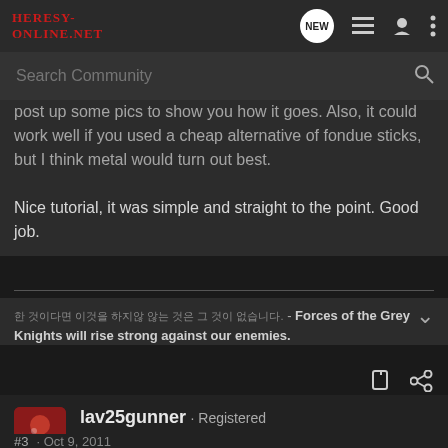HERESY-ONLINE.NET
Search Community
post up some pics to show you how it goes. Also, it could work well if you used a cheap alternative of fondue sticks, but I think metal would turn out best.

Nice tutorial, it was simple and straight to the point. Good job.
Forces of the Grey Knights will rise strong against our enemies.
lav25gunner · Registered
Joined Dec 12, 2008 · 699 Posts
#3 · Oct 9, 2011